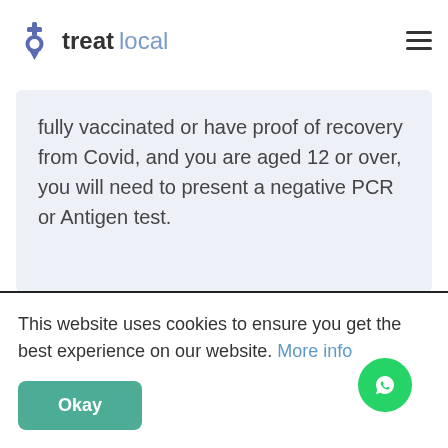treatlocal
Germany in Shoreditch
fully vaccinated or have proof of recovery from Covid, and you are aged 12 or over, you will need to present a negative PCR or Antigen test.
This website uses cookies to ensure you get the best experience on our website. More info
Okay